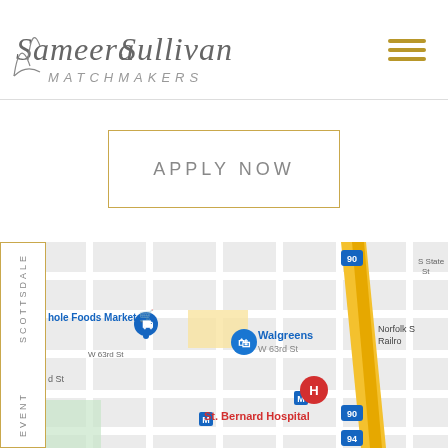Sameera Sullivan MATCHMAKERS
APPLY NOW
SCOTTSDALE EVENT
[Figure (map): Google Maps screenshot showing area around St. Bernard Hospital, Chicago. Visible landmarks include Whole Foods Market, Walgreens on W 63rd St, St. Bernard Hospital (marked with red H), Norfolk Southern Railroad, S State St, and highway markers for routes 90 and 94. Several metro (M) stops are also visible.]